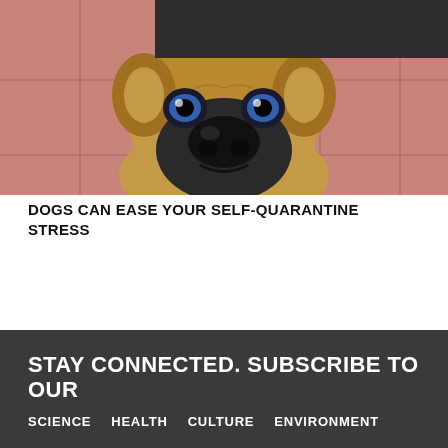[Figure (photo): Close-up photo of a French Bulldog's face looking up at the camera, against a reddish-pink tiled floor background. A dark redacted/censored bar covers the top portion of the image.]
DOGS CAN EASE YOUR SELF-QUARANTINE STRESS
STAY CONNECTED. SUBSCRIBE TO OUR
SCIENCE   HEALTH   CULTURE   ENVIRONMENT